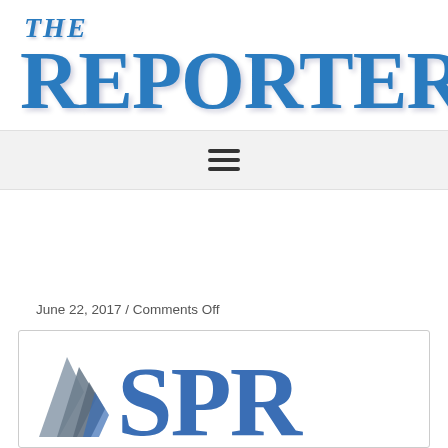[Figure (logo): The Reporter newspaper logo with 'THE' in smaller italic text above 'REPORTER' in large bold serif font, both in blue]
[Figure (other): Navigation hamburger menu icon (three horizontal lines) on a light gray background bar]
June 22, 2017 / Comments Off
[Figure (logo): SPR logo with a stylized gray and blue wing/flame icon on the left and large blue letters 'SPR' on the right, inside a bordered box]